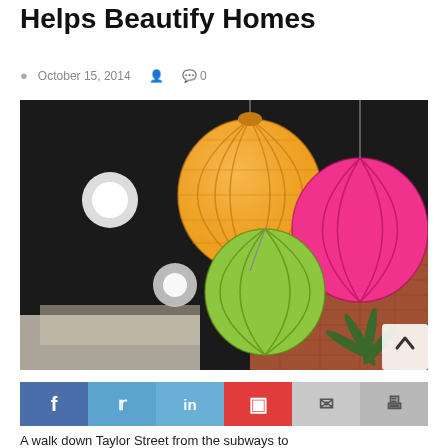Helps Beautify Homes
October 15, 2014   0
[Figure (photo): Photo of colorful paper lanterns (orange, pink, green) hanging from a dark ceiling above a brick wall interior, with palm fronds and decorated letters visible below.]
f  in  Pinterest icon  email icon  print icon
A walk down Taylor Street from the subways to